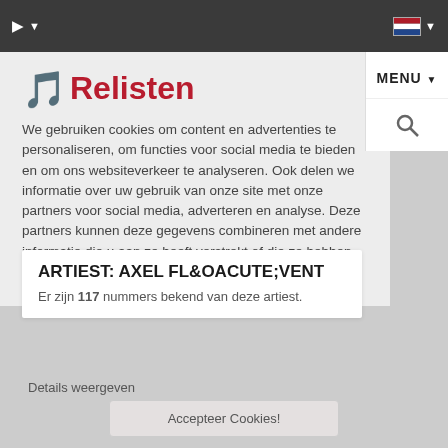Relisten – navigation bar with play button and language selector
We gebruiken cookies om content en advertenties te personaliseren, om functies voor social media te bieden en om ons websiteverkeer te analyseren. Ook delen we informatie over uw gebruik van onze site met onze partners voor social media, adverteren en analyse. Deze partners kunnen deze gegevens combineren met andere informatie die u aan ze heeft verstrekt of die ze hebben verzameld op basis van uw gebruik van hun services.
ARTIEST: AXEL FL&OACUTE;VENT
Er zijn 117 nummers bekend van deze artiest.
Details weergeven
Accepteer Cookies!